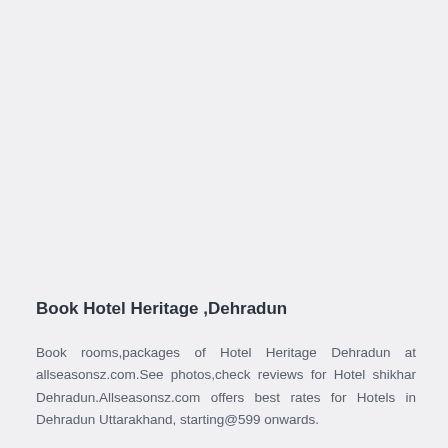Book Hotel Heritage ,Dehradun
Book rooms,packages of Hotel Heritage Dehradun at allseasonsz.com.See photos,check reviews for Hotel shikhar Dehradun.Allseasonsz.com offers best rates for Hotels in Dehradun Uttarakhand, starting@599 onwards.